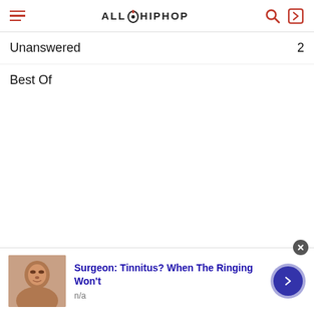ALLHIPHOP
Unanswered 2
Best Of
[Figure (photo): Advertisement banner with a photo of a person, headline 'Surgeon: Tinnitus? When The Ringing Won't' and sub-label 'n/a']